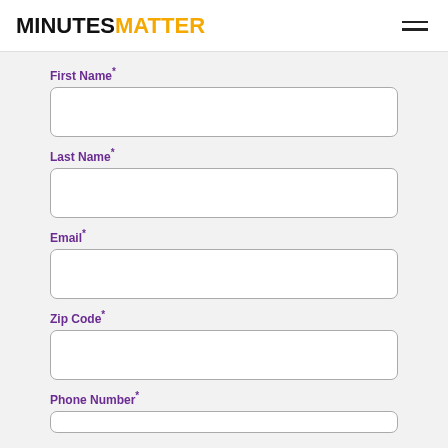MINUTESMATTER
First Name*
Last Name*
Email*
Zip Code*
Phone Number*